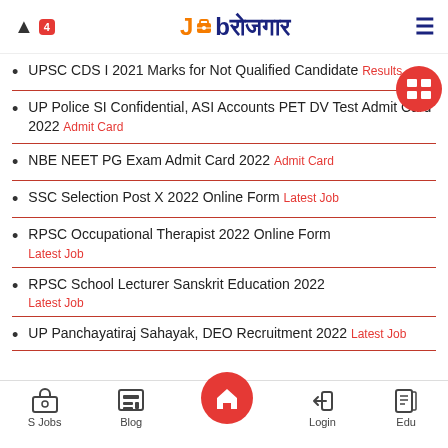Job Rojgar — notification bell with badge 4, logo, hamburger menu
UPSC CDS I 2021 Marks for Not Qualified Candidate — Results
UP Police SI Confidential, ASI Accounts PET DV Test Admit Card 2022 — Admit Card
NBE NEET PG Exam Admit Card 2022 — Admit Card
SSC Selection Post X 2022 Online Form — Latest Job
RPSC Occupational Therapist 2022 Online Form — Latest Job
RPSC School Lecturer Sanskrit Education 2022 — Latest Job
UP Panchayatiraj Sahayak, DEO Recruitment 2022 — Latest Job
S Jobs | Blog | Home | Login | Edu